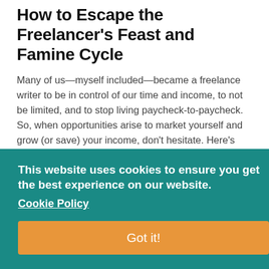How to Escape the Freelancer's Feast and Famine Cycle
Many of us—myself included—became a freelance writer to be in control of our time and income, to not be limited, and to stop living paycheck-to-paycheck. So, when opportunities arise to market yourself and grow (or save) your income, don't hesitate. Here's how to break the feast and famine cycle that many freelancers get stuck in.
This website uses cookies to ensure you get the best experience on our website. Cookie Policy
Got it!
[Figure (photo): Partial photo showing a red ring/cookie cutter on a wooden surface with an SEO sign visible at the bottom]